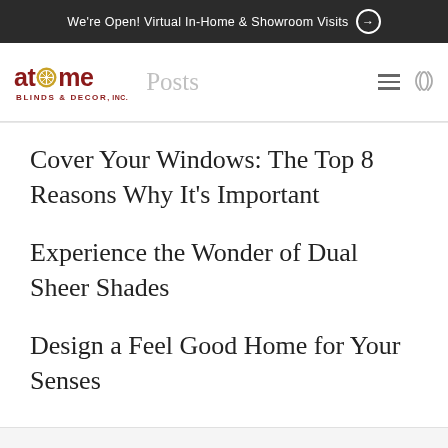We're Open! Virtual In-Home & Showroom Visits →
[Figure (logo): At Home Blinds & Decor Inc. logo with 'Posts' navigation label and hamburger menu / phone icon]
Cover Your Windows: The Top 8 Reasons Why It's Important
Experience the Wonder of Dual Sheer Shades
Design a Feel Good Home for Your Senses